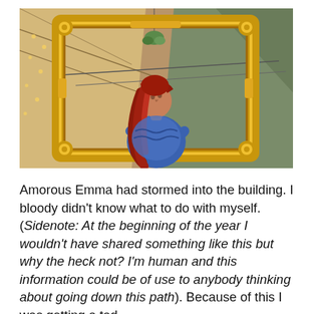[Figure (photo): A woman with long red hair looks upward while holding a large ornate gold picture frame in front of her. The background shows the interior of a tent or marquee with string lights and fabric ceiling.]
Amorous Emma had stormed into the building. I bloody didn't know what to do with myself. (Sidenote: At the beginning of the year I wouldn't have shared something like this but why the heck not? I'm human and this information could be of use to anybody thinking about going down this path). Because of this I was getting a tad